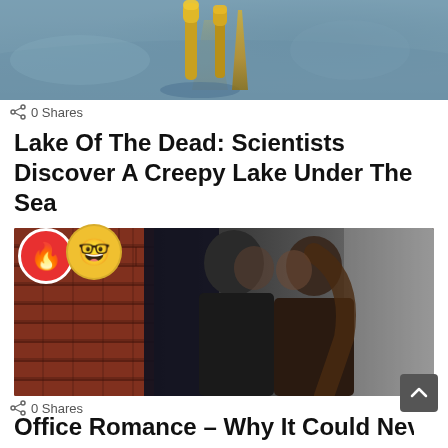[Figure (photo): Underwater photo showing what appears to be tube worms or similar sea creatures against a grey/blue underwater substrate]
0 Shares
Lake Of The Dead: Scientists Discover A Creepy Lake Under The Sea
[Figure (photo): Two people in black clothing in a romantic near-kiss pose, standing against a brick wall and dark doorway background. Overlaid with a fire emoji (red circle) and a nerd/glasses emoji (yellow circle).]
0 Shares
Office Romance – Why It Could Never Work: 5